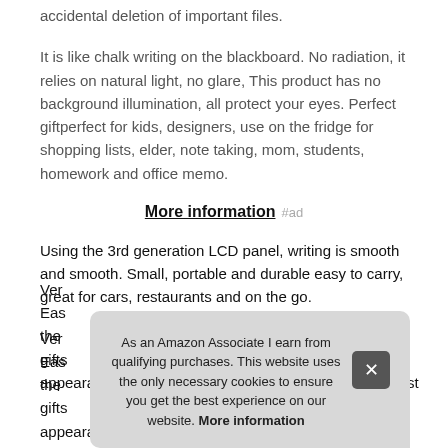accidental deletion of important files.
It is like chalk writing on the blackboard. No radiation, it relies on natural light, no glare, This product has no background illumination, all protect your eyes. Perfect giftperfect for kids, designers, use on the fridge for shopping lists, elder, note taking, mom, students, homework and office memo.
More information #ad
Using the 3rd generation LCD panel, writing is smooth and smooth. Small, portable and durable easy to carry, great for cars, restaurants and on the go.
Very... Easy... the... gifts... appearance more refined and high-end, which is the best
As an Amazon Associate I earn from qualifying purchases. This website uses the only necessary cookies to ensure you get the best experience on our website. More information